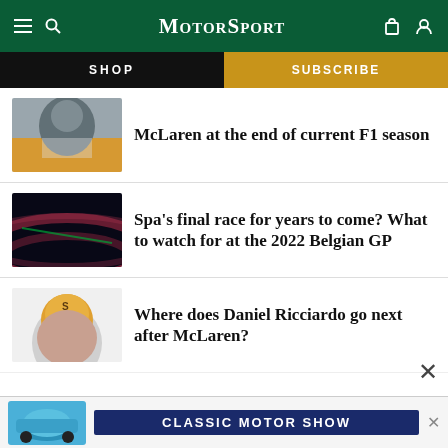MotorSport
SHOP | SUBSCRIBE
McLaren at the end of current F1 season
Spa's final race for years to come? What to watch for at the 2022 Belgian GP
Where does Daniel Ricciardo go next after McLaren?
[Figure (infographic): Advertisement banner for Classic Motor Show featuring a blue classic Porsche car]
CLASSIC MOTOR SHOW